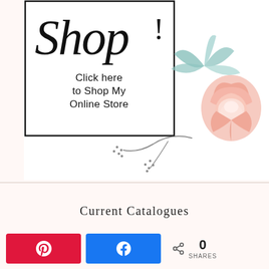[Figure (illustration): Decorative shop banner with cursive 'Shop!' text and 'Click here to Shop My Online Store' inside a black border rectangle, with a pink peony flower and teal leaves illustration overlapping the border corner.]
Current Catalogues
[Figure (infographic): Bottom bar with Pinterest (red) and Facebook (blue) share buttons, a share icon, count '0', and label 'SHARES'.]